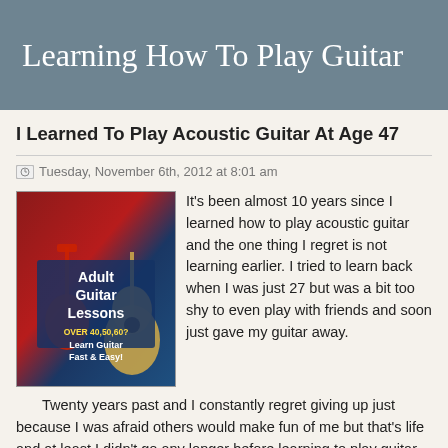Learning How To Play Guitar
I Learned To Play Acoustic Guitar At Age 47
Tuesday, November 6th, 2012 at 8:01 am
[Figure (photo): Adult Guitar Lessons advertisement image showing two guitars (red electric and acoustic) with text: Adult Guitar Lessons, OVER 40,50,60? Learn Guitar Fast & Easy!]
It's been almost 10 years since I learned how to play acoustic guitar and the one thing I regret is not learning earlier. I tried to learn back when I was just 27 but was a bit too shy to even play with friends and soon just gave my guitar away.
Twenty years past and I constantly regret giving up just because I was afraid others would make fun of me but that's life and at least I didn't go any longer before learning to play guitar. It was kind of funny because I had a computer instructor and it was one, well two, of my networking students that got me started.